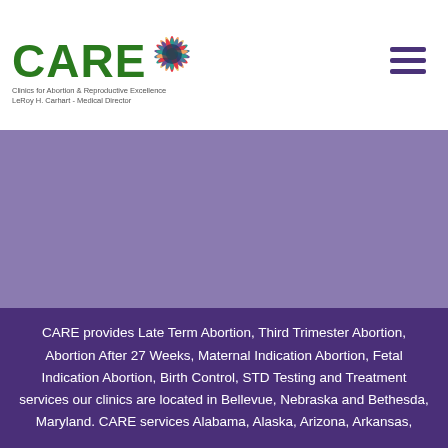CARE — Clinics for Abortion & Reproductive Excellence. LeRoy H. Carhart - Medical Director
[Figure (illustration): Purple/medium purple hero banner background area]
CARE provides Late Term Abortion, Third Trimester Abortion, Abortion After 27 Weeks, Maternal Indication Abortion, Fetal Indication Abortion, Birth Control, STD Testing and Treatment services our clinics are located in Bellevue, Nebraska and Bethesda, Maryland. CARE services Alabama, Alaska, Arizona, Arkansas,